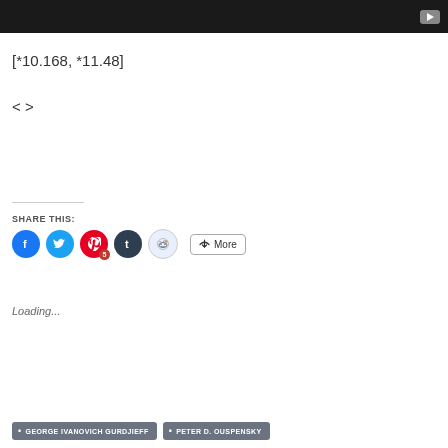[Figure (screenshot): Dark video/media bar at top with YouTube play button icon on right]
[*10.168, *11.48]
< >
SHARE THIS:
[Figure (other): Social share buttons: Facebook, Twitter, Pinterest (with badge 5), Tumblr, Reddit, and More button]
Loading...
• GEORGE IVANOVICH GURDJIEFF  • PETER D. OUSPENSKY